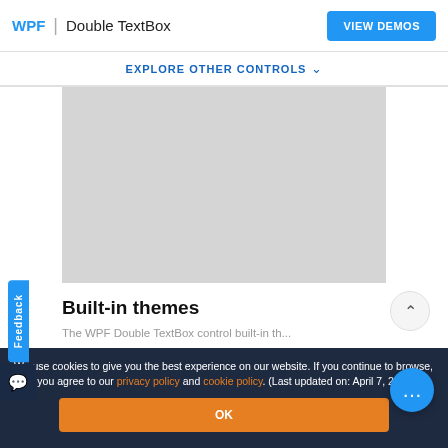WPF | Double TextBox
EXPLORE OTHER CONTROLS ˅
[Figure (screenshot): Gray placeholder content area]
Built-in themes
The WPF Double TextBox control built-in themes
We use cookies to give you the best experience on our website. If you continue to browse, then you agree to our privacy policy and cookie policy. (Last updated on: April 7, 2021)
OK